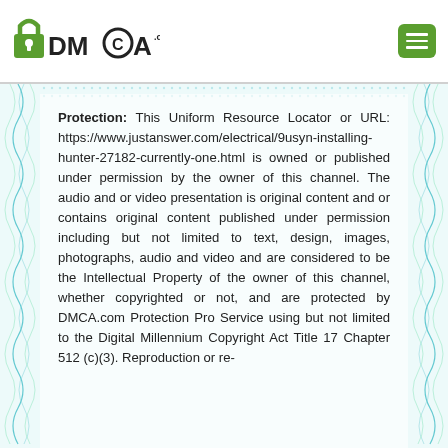[Figure (logo): DMCA.com logo with padlock icon and text DMCA.com]
[Figure (other): Green hamburger menu button (three horizontal lines)]
Protection: This Uniform Resource Locator or URL: https://www.justanswer.com/electrical/9usyn-installing-hunter-27182-currently-one.html is owned or published under permission by the owner of this channel. The audio and or video presentation is original content and or contains original content published under permission including but not limited to text, design, images, photographs, audio and video and are considered to be the Intellectual Property of the owner of this channel, whether copyrighted or not, and are protected by DMCA.com Protection Pro Service using but not limited to the Digital Millennium Copyright Act Title 17 Chapter 512 (c)(3). Reproduction or re-